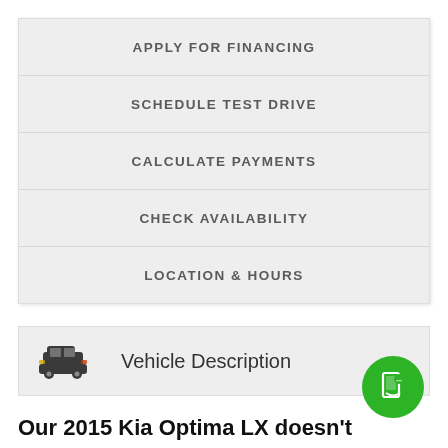APPLY FOR FINANCING
SCHEDULE TEST DRIVE
CALCULATE PAYMENTS
CHECK AVAILABILITY
LOCATION & HOURS
Vehicle Description
Our 2015 Kia Optima LX doesn't have a description yet!